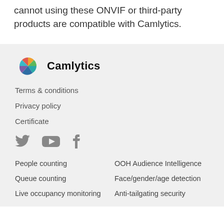cannot using these ONVIF or third-party products are compatible with Camlytics.
[Figure (logo): Camlytics logo with colorful pie-chart icon and bold text 'Camlytics']
Terms & conditions
Privacy policy
Certificate
[Figure (illustration): Social media icons: Twitter, YouTube, Facebook in grey]
People counting
OOH Audience Intelligence
Queue counting
Face/gender/age detection
Live occupancy monitoring
Anti-tailgating security